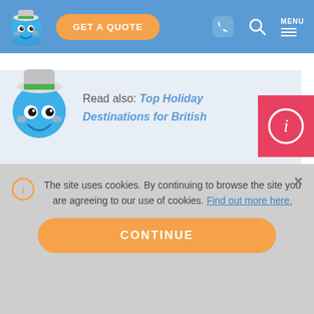GET A QUOTE | MENU
[Figure (screenshot): Insurance website mascot - blue smiling globe character wearing a white hat with green band]
Read also: Top Holiday Destinations for British
[Figure (infographic): Red info badge button (i)]
[Figure (logo): Facebook social share icon - blue square with white F]
[Figure (logo): Twitter social share icon - blue square with white bird]
[Figure (logo): Pinterest social share icon - red square with white P]
The site uses cookies. By continuing to browse the site you are agreeing to our use of cookies. Find out more here.
CONTINUE